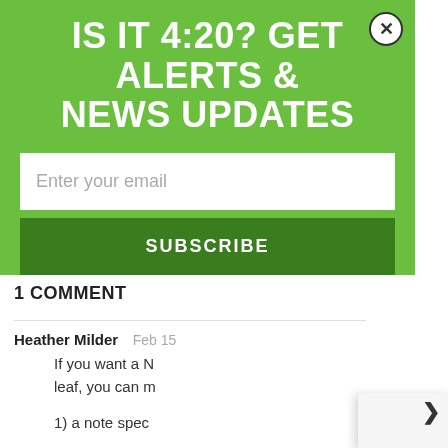IS IT 4:20? GET ALERTS & NEWS UPDATES
Enter your email
SUBSCRIBE
1 COMMENT
Heather Milder  Feb 15
If you want a N leaf, you can m
1) a note spec